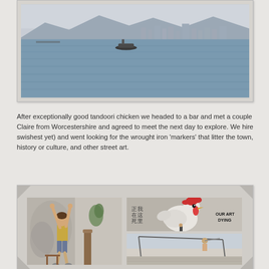[Figure (photo): Seascape photo showing a body of water with a boat, city skyline and mountains in the background under an overcast sky]
After exceptionally good tandoori chicken we headed to a bar and met a couple Claire from Worcestershire and agreed to meet the next day to explore. We hire swishest yet) and went looking for the wrought iron 'markers' that litter the town, history or culture, and other street art.
[Figure (photo): Photo collage showing street art: left - a child reaching up a wall mural; top right - a graffiti rooster/chicken with Chinese characters and 'our art dying' text; bottom right - another street art piece]